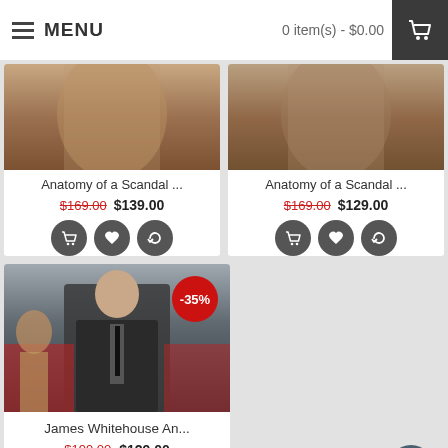MENU   0 item(s) - $0.00
Anatomy of a Scandal ...  $169.00  $139.00
Anatomy of a Scandal ...  $169.00  $129.00
[Figure (photo): Product photo - Anatomy of a Scandal, top left card]
[Figure (photo): Product photo - Anatomy of a Scandal, top right card]
[Figure (photo): Product photo - James Whitehouse An... man in dark coat, -35% badge]
James Whitehouse An...
$199.00  $129.00